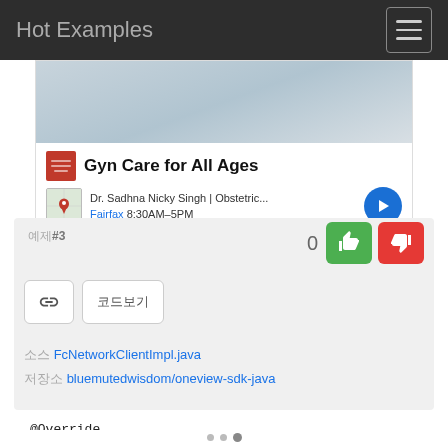Hot Examples
[Figure (screenshot): Advertisement for 'Gyn Care for All Ages' by Dr. Sadhna Nicky Singh | Obstetric... in Fairfax, 8:30AM-5PM, with a map thumbnail and navigation arrow button.]
예제#3
0
소스 FcNetworkClientImpl.java
저장소 bluemutedwisdom/oneview-sdk-java
@Override
public TaskResourceV2 createFcNetwork(